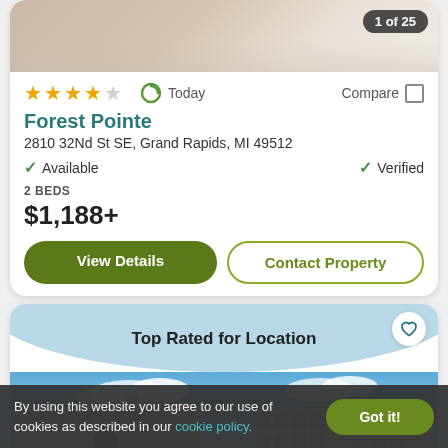[Figure (photo): Apartment interior photo strip showing carpet floor and white surface, with '1 of 25' counter badge]
★★★★☆   Today   Compare
Forest Pointe
2810 32Nd St SE, Grand Rapids, MI 49512
✓ Available   ✓ Verified
2 BEDS
$1,188+
View Details   Contact Property
[Figure (photo): Apartment complex exterior photo showing multi-story white buildings with balconies against blue sky, with 'Top Rated for Location' banner and heart favorite button]
By using this website you agree to our use of cookies as described in our cookie policy.